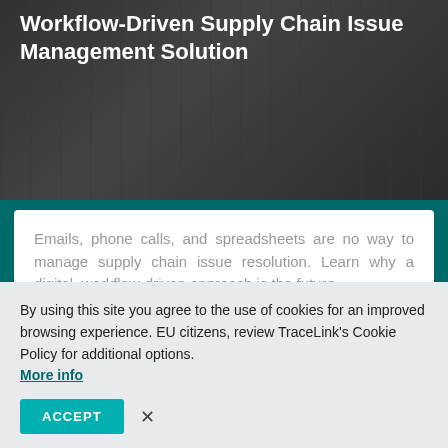[Figure (photo): Dark background photo of people in a workplace/office setting, partially visible at top]
Workflow-Driven Supply Chain Issue Management Solution
Emails, phone calls, and spreadsheets are no way to manage supply chain issue resolution. Learn why a digital, workflow-driven approach is the future.
LEARN MORE
[Figure (photo): Partial photo of people, second card partially visible]
By using this site you agree to the use of cookies for an improved browsing experience. EU citizens, review TraceLink's Cookie Policy for additional options. More info
ACCEPT